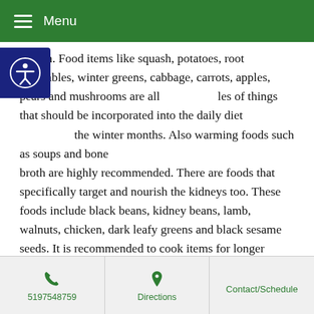Menu
season. Food items like squash, potatoes, root vegetables, winter greens, cabbage, carrots, apples, pears and mushrooms are all examples of things that should be incorporated into the daily diet during the winter months. Also warming foods such as soups and bone broth are highly recommended. There are foods that specifically target and nourish the kidneys too. These foods include black beans, kidney beans, lamb, walnuts, chicken, dark leafy greens and black sesame seeds. It is recommended to cook items for longer periods of time, on lower heat and with less water, as the food should be warming as well as nourishing.
When we align ourselves with the natural processes of life and the seasons, our bodies will adjust and perform optimally, just as they are intended to. This is how we are supposed to live and can quite possibly be why there is so much more disease now than in the past. So to be
5197548759 | Directions | Contact/Schedule